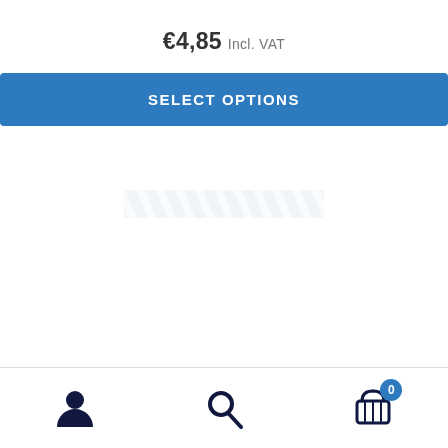€4,85 Incl. VAT
SELECT OPTIONS
[Figure (infographic): Loading spinner with diagonal stripes in light gray/blue]
User icon | Search icon | Cart icon with badge 0